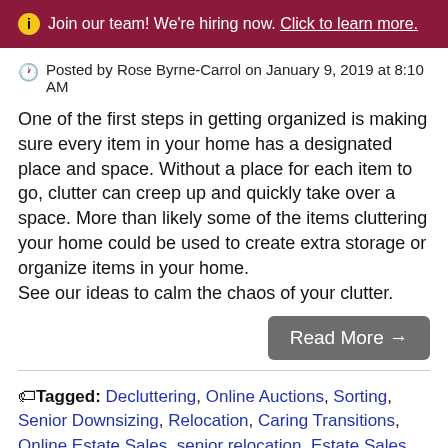ℹ Join our team! We're hiring now. Click to learn more.
🕐 Posted by Rose Byrne-Carrol on January 9, 2019 at 8:10 AM
One of the first steps in getting organized is making sure every item in your home has a designated place and space. Without a place for each item to go, clutter can creep up and quickly take over a space. More than likely some of the items cluttering your home could be used to create extra storage or organize items in your home.
See our ideas to calm the chaos of your clutter.
Read More →
Tagged: Decluttering, Online Auctions, Sorting, Senior Downsizing, Relocation, Caring Transitions, Online Estate Sales, senior relocation, Estate Sales, CTBids.com, get organized, Downsizing